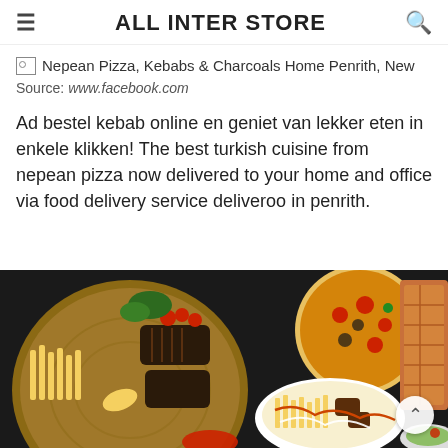ALL INTER STORE
[Figure (other): Broken image placeholder with caption: Nepean Pizza, Kebabs & Charcoals Home Penrith, New]
Source: www.facebook.com
Ad bestel kebab online en geniet van lekker eten in enkele klikken! The best turkish cuisine from nepean pizza now delivered to your home and office via food delivery service deliveroo in penrith.
[Figure (photo): Food photo showing various Turkish dishes on a dark background: a round wooden board with grilled meats, french fries, corn, and cherry tomatoes; a pizza with toppings; a dish with fries and meat drizzled with sauce; flatbread; and a bowl with salad.]